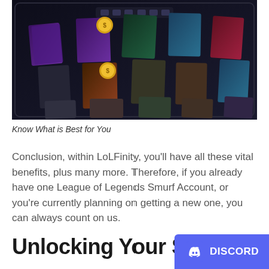[Figure (photo): Dark themed image of a mobile device screen displaying League of Legends champion cards/characters with gold coin icons visible]
Know What is Best for You
Conclusion, within LoLFinity, you'll have all these vital benefits, plus many more. Therefore, if you already have one League of Legends Smurf Account, or you're currently planning on getting a new one, you can always count on us.
Unlocking Your Smu